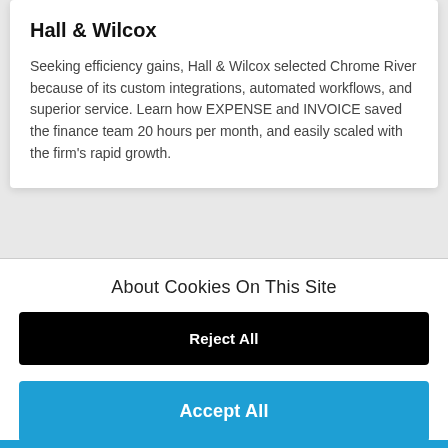Hall & Wilcox
Seeking efficiency gains, Hall & Wilcox selected Chrome River because of its custom integrations, automated workflows, and superior service. Learn how EXPENSE and INVOICE saved the finance team 20 hours per month, and easily scaled with the firm's rapid growth.
About Cookies On This Site
Reject All
Accept All